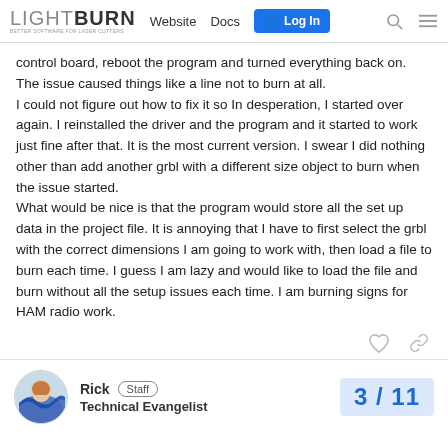LIGHTBURN  Website  Docs  Log In
control board, reboot the program and turned everything back on. The issue caused things like a line not to burn at all.
I could not figure out how to fix it so In desperation, I started over again. I reinstalled the driver and the program and it started to work just fine after that. It is the most current version. I swear I did nothing other than add another grbl with a different size object to burn when the issue started.
What would be nice is that the program would store all the set up data in the project file. It is annoying that I have to first select the grbl with the correct dimensions I am going to work with, then load a file to burn each time. I guess I am lazy and would like to load the file and burn without all the setup issues each time. I am burning signs for HAM radio work.
Rick  Staff
Technical Evangelist
3 / 11